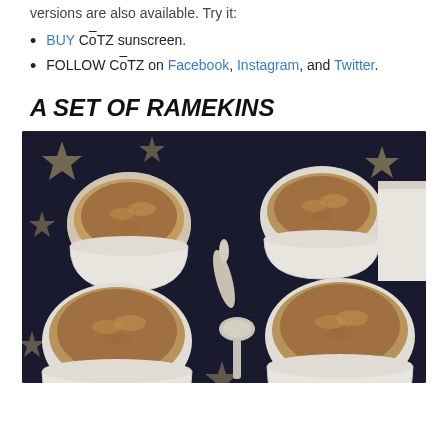versions are also available. Try it:
BUY CōTZ sunscreen.
FOLLOW CōTZ on Facebook, Instagram, and Twitter.
A SET OF RAMEKINS
[Figure (photo): Four white ceramic ramekins filled with a brown crumble/dessert topping, arranged on a dark star-patterned background, with two spoons visible in the middle.]